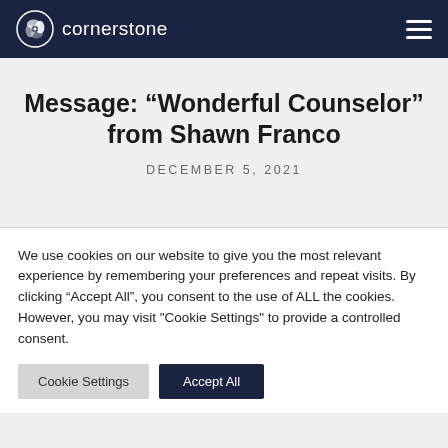cornerstone
Message: “Wonderful Counselor” from Shawn Franco
DECEMBER 5, 2021
We use cookies on our website to give you the most relevant experience by remembering your preferences and repeat visits. By clicking “Accept All”, you consent to the use of ALL the cookies. However, you may visit "Cookie Settings" to provide a controlled consent.